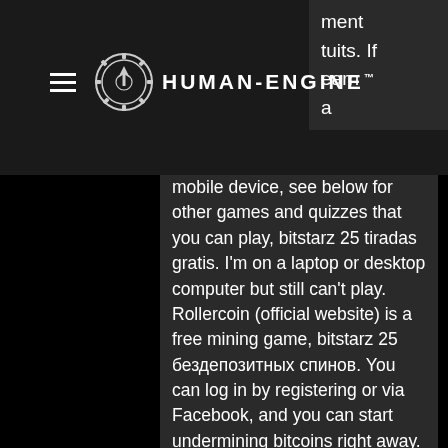[Figure (logo): Human-Engine logo with gear/compass icon and brand name text]
ment tuits. If earn a
mobile device, see below for other games and quizzes that you can play, bitstarz 25 tiradas gratis. I'm on a laptop or desktop computer but still can't play. Rollercoin (official website) is a free mining game, bitstarz 25 бездепозитных спинов. You can log in by registering or via Facebook, and you can start undermining bitcoins right away. Altcoin Fantasy is a free crypto trade simulator that allows you to learn how to trade digital assets in a risk-free environment. Launched in 2018, Altcoin Fantasy is available in the US and Canada with plans to expand into Asia, bitstarz 25 casino зеркало. Genre: multiple Platform: browser Payment Methods: Bitcoin, Litecoin, Ethereum, Dogecoin, Bitcoin Cash. BitStarz is an online casino where players can find